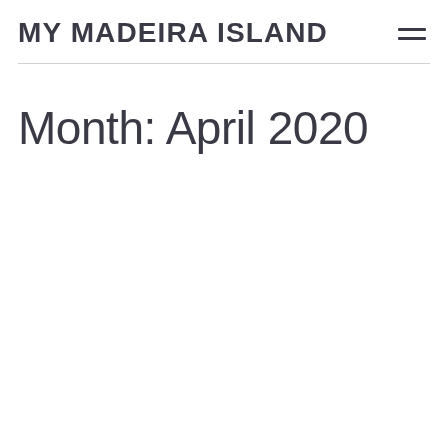MY MADEIRA ISLAND
Month: April 2020